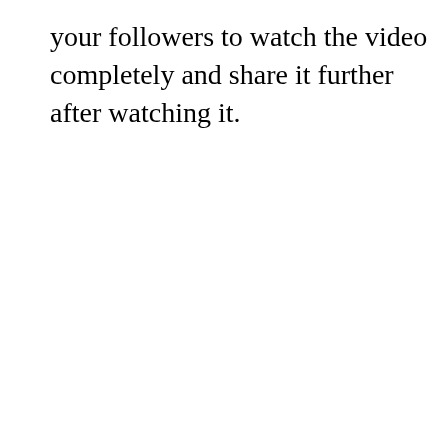your followers to watch the video completely and share it further after watching it.